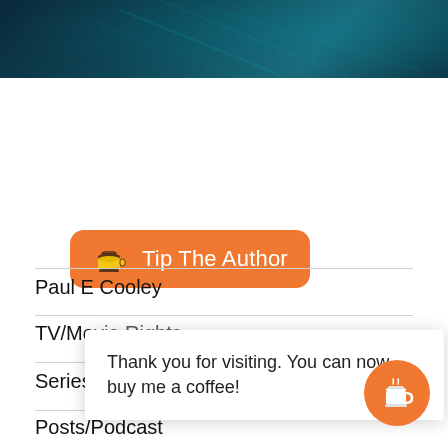[Figure (photo): Dark teal/dark blue hero banner image at top of page with abstract overlapping geometric shapes or vehicle elements]
[Figure (other): Orange rounded button with coffee cup emoji and text 'Tip The Author']
Paul E Cooley
TV/Movie Rights
Series
Posts/Podcast
Thank you for visiting. You can now buy me a coffee!
[Figure (other): Orange circle button with white coffee cup icon (Buy Me a Coffee widget)]